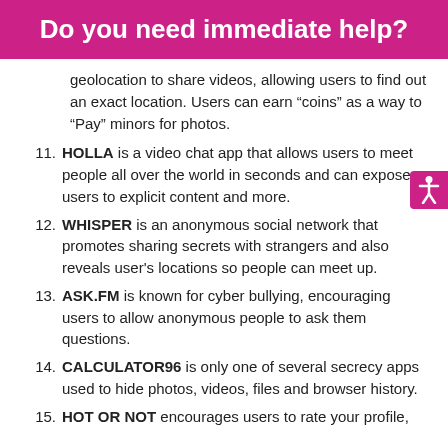Do you need immediate help?
geolocation to share videos, allowing users to find out an exact location. Users can earn “coins” as a way to “Pay” minors for photos.
11. HOLLA is a video chat app that allows users to meet people all over the world in seconds and can expose users to explicit content and more.
12. WHISPER is an anonymous social network that promotes sharing secrets with strangers and also reveals user's locations so people can meet up.
13. ASK.FM is known for cyber bullying, encouraging users to allow anonymous people to ask them questions.
14. CALCULATOR96 is only one of several secrecy apps used to hide photos, videos, files and browser history.
15. HOT OR NOT encourages users to rate your profile,